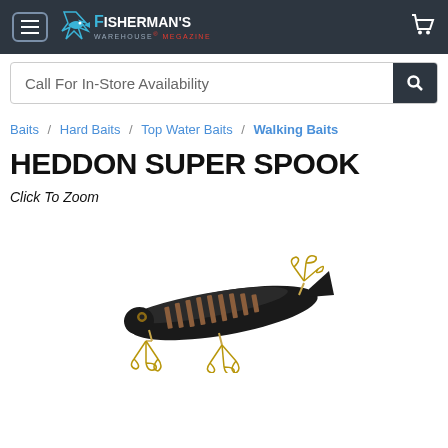Fisherman's Warehouse Megazine
Call For In-Store Availability
Baits / Hard Baits / Top Water Baits / Walking Baits
HEDDON SUPER SPOOK
Click To Zoom
[Figure (photo): Heddon Super Spook fishing lure - black and gold colored walking bait with treble hooks]